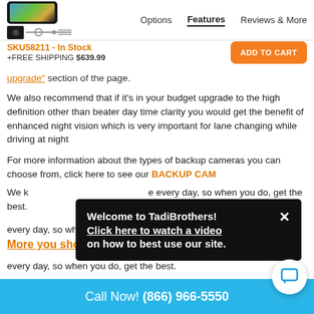Options | Features | Reviews & More
SKU58211 - In Stock
+FREE SHIPPING $639.99
upgrade" section of the page.
We also recommend that if it's in your budget upgrade to the high definition other than beater day time clarity you would get the benefit of enhanced night vision which is very important for lane changing while driving at night
For more information about the types of backup cameras you can choose from, click here to see our BACKUP CAM
We k[nowle...] we p[rovide...] mak[e...] every day, so when you do, get the best.
Welcome to TadiBrothers! Click here to watch a video on how to best use our site.
More you should know
Call Now! (866) 966-5550